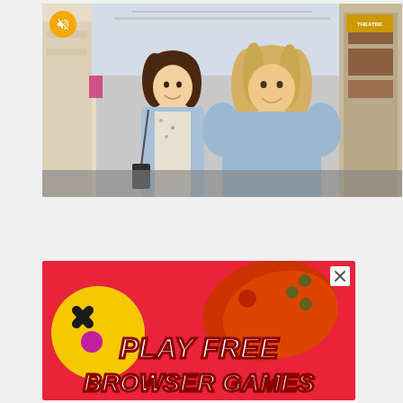[Figure (screenshot): Video player showing two young women walking on a city street, both wearing light blue outfits. A mute button (orange circle with speaker-off icon) is visible in the top-left corner of the video.]
[Figure (screenshot): Advertisement banner with red/pink background showing a game controller and cartoon elements. Text reads 'PLAY FREE BROWSER GAMES' in large bold italic white letters with dark shadow. An X close button is in the top-right corner.]